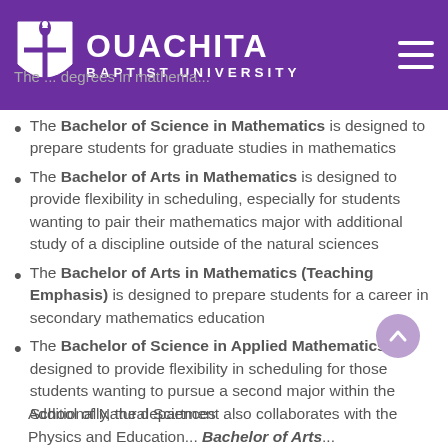[Figure (logo): Ouachita Baptist University logo with purple shield and torch, white text reading OUACHITA BAPTIST UNIVERSITY, and hamburger menu icon]
The Bachelor of Science in Mathematics is designed to prepare students for graduate studies in mathematics
The Bachelor of Arts in Mathematics is designed to provide flexibility in scheduling, especially for students wanting to pair their mathematics major with additional study of a discipline outside of the natural sciences
The Bachelor of Arts in Mathematics (Teaching Emphasis) is designed to prepare students for a career in secondary mathematics education
The Bachelor of Science in Applied Mathematics is designed to provide flexibility in scheduling for those students wanting to pursue a second major within the School of Natural Sciences
Additionally, the department also collaborates with the Physics and Education...